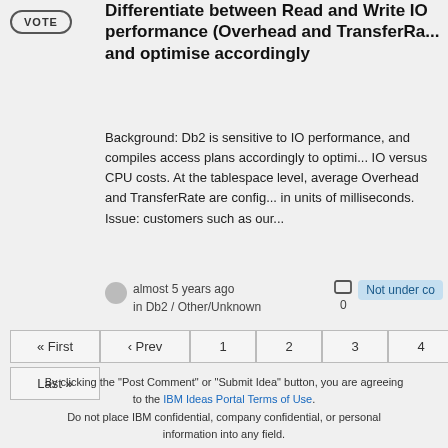Differentiate between Read and Write IO performance (Overhead and TransferRate) and optimise accordingly
Background: Db2 is sensitive to IO performance, and compiles access plans accordingly to optimise IO versus CPU costs. At the tablespace level, average Overhead and TransferRate are configured in units of milliseconds. Issue: customers such as our...
almost 5 years ago in Db2 / Other/Unknown  0  Not under co
« First ‹ Prev 1 2 3 4 5 Next › Last »
By clicking the "Post Comment" or "Submit Idea" button, you are agreeing to the IBM Ideas Portal Terms of Use. Do not place IBM confidential, company confidential, or personal information into any field.